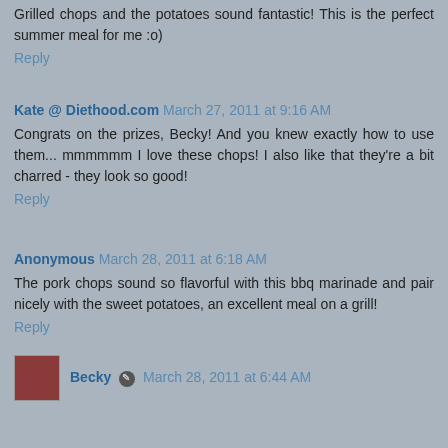Grilled chops and the potatoes sound fantastic! This is the perfect summer meal for me :o)
Reply
Kate @ Diethood.com  March 27, 2011 at 9:16 AM
Congrats on the prizes, Becky! And you knew exactly how to use them... mmmmmm I love these chops! I also like that they're a bit charred - they look so good!
Reply
Anonymous  March 28, 2011 at 6:18 AM
The pork chops sound so flavorful with this bbq marinade and pair nicely with the sweet potatoes, an excellent meal on a grill!
Reply
Becky  March 28, 2011 at 6:44 AM